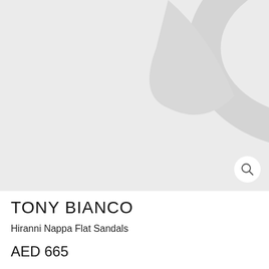[Figure (photo): Product photo area with light gray background showing a partial view of a sandal or shoe on a light gray background. A circular magnify/zoom button icon is visible in the bottom-right corner of the image area.]
TONY BIANCO
Hiranni Nappa Flat Sandals
AED 665